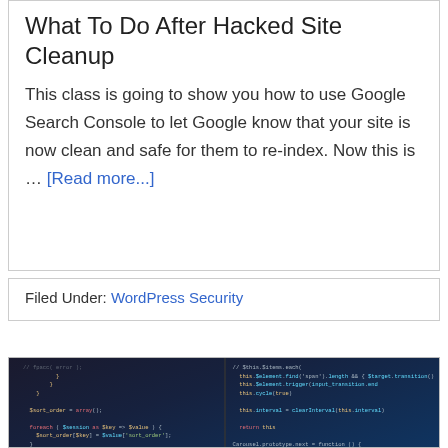What To Do After Hacked Site Cleanup
This class is going to show you how to use Google Search Console to let Google know that your site is now clean and safe for them to re-index. Now this is … [Read more...]
Filed Under: WordPress Security
[Figure (screenshot): Dark-themed code editor screenshot showing JavaScript or PHP code with syntax highlighting on a dark background, split into two columns]